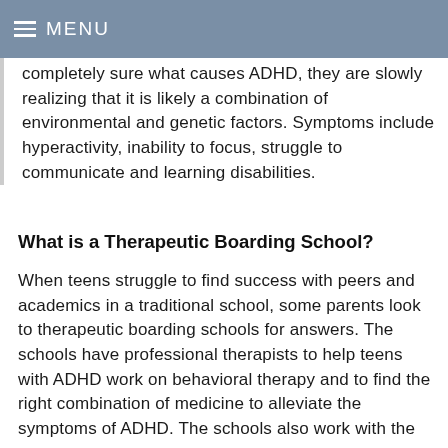MENU
completely sure what causes ADHD, they are slowly realizing that it is likely a combination of environmental and genetic factors. Symptoms include hyperactivity, inability to focus, struggle to communicate and learning disabilities.
What is a Therapeutic Boarding School?
When teens struggle to find success with peers and academics in a traditional school, some parents look to therapeutic boarding schools for answers. The schools have professional therapists to help teens with ADHD work on behavioral therapy and to find the right combination of medicine to alleviate the symptoms of ADHD. The schools also work with the